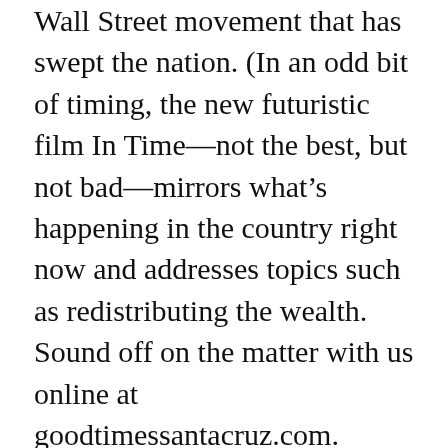Wall Street movement that has swept the nation. (In an odd bit of timing, the new futuristic film In Time—not the best, but not bad—mirrors what's happening in the country right now and addresses topics such as redistributing the wealth. Sound off on the matter with us online at goodtimessantacruz.com. You'll find a number of blogs there about